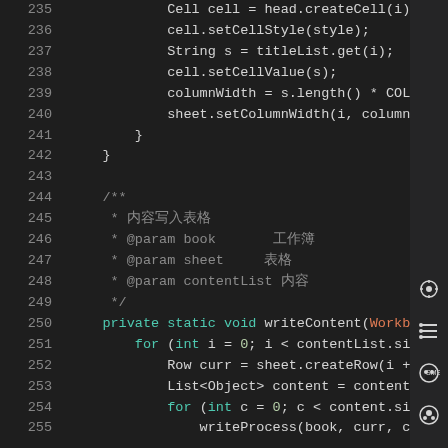[Figure (screenshot): Dark-themed Java code editor screenshot showing lines 235-255 of source code with syntax highlighting. Line numbers in gray on left, keywords in cyan/teal, type names in orange, regular code in light gray, comments in medium gray. Side panel icons visible on right.]